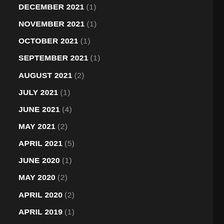DECEMBER 2021 (1)
NOVEMBER 2021 (1)
OCTOBER 2021 (1)
SEPTEMBER 2021 (1)
AUGUST 2021 (2)
JULY 2021 (1)
JUNE 2021 (4)
MAY 2021 (2)
APRIL 2021 (5)
JUNE 2020 (1)
MAY 2020 (2)
APRIL 2020 (2)
APRIL 2019 (1)
FEBRUARY 2019 (1)
APRIL 2018 (1)